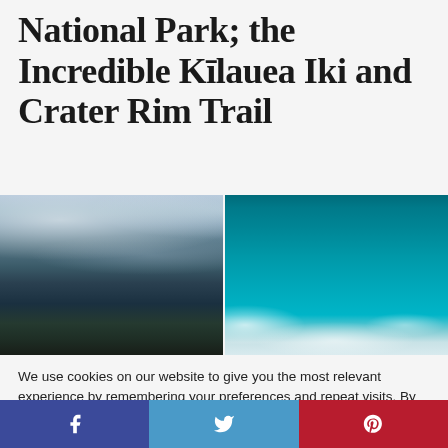National Park; the Incredible Kīlauea Iki and Crater Rim Trail
[Figure (photo): Left photo: aerial/panoramic view of volcanic crater landscape with dark lava fields and cloudy sky]
[Figure (photo): Right photo: bright teal/turquoise sky with a few white clouds near the horizon]
We use cookies on our website to give you the most relevant experience by remembering your preferences and repeat visits. By clicking “Accept”, you consent to the use of ALL the cookies.
Do not my personal information.
Cookie settings
ACCEPT COOKIES